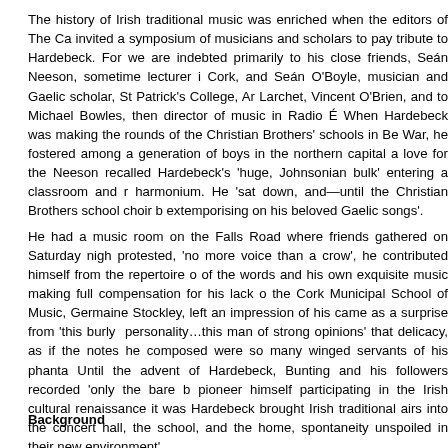The history of Irish traditional music was enriched when the editors of The Ca invited a symposium of musicians and scholars to pay tribute to Hardebeck. For we are indebted primarily to his close friends, Seán Neeson, sometime lecturer i Cork, and Seán O'Boyle, musician and Gaelic scholar, St Patrick's College, Ar Larchet, Vincent O'Brien, and to Michael Bowles, then director of music in Radio É When Hardebeck was making the rounds of the Christian Brothers' schools in Be War, he fostered among a generation of boys in the northern capital a love for the Neeson recalled Hardebeck's 'huge, Johnsonian bulk' entering a classroom and harmonium. He 'sat down, and—until the Christian Brothers school choir b extemporising on his beloved Gaelic songs'.
He had a music room on the Falls Road where friends gathered on Saturday nigh protested, 'no more voice than a crow', he contributed himself from the repertoire of the words and his own exquisite music making full compensation for his lack o the Cork Municipal School of Music, Germaine Stockley, left an impression of hi came as a surprise from 'this burly personality…this man of strong opinions' that delicacy, as if the notes he composed were so many winged servants of his phanta Until the advent of Hardebeck, Bunting and his followers recorded 'only the bare b pioneer himself participating in the Irish cultural renaissance it was Hardebeck brought Irish traditional airs into the concert hall, the school, and the home, spontaneity unspoiled in their new environment'.
Background